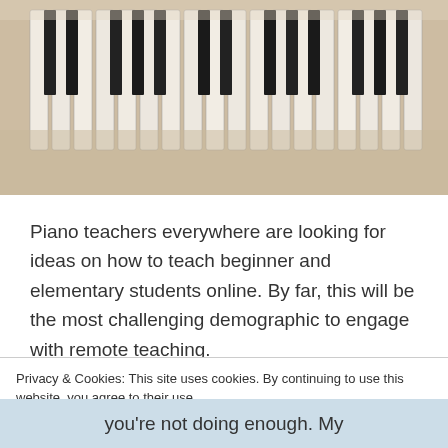[Figure (photo): Close-up photograph of piano keys, white and black keys extending into the distance with shallow depth of field]
Piano teachers everywhere are looking for ideas on how to teach beginner and elementary students online. By far, this will be the most challenging demographic to engage with remote teaching.
In this post you’ll find ideas, then
Privacy & Cookies: This site uses cookies. By continuing to use this website, you agree to their use.
To find out more, including how to control cookies, see here: Cookie Policy
Close and accept
you’re not doing enough. My